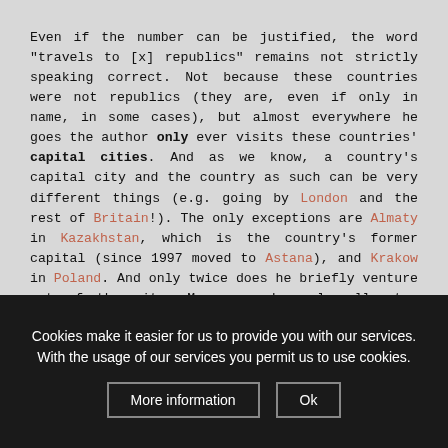Even if the number can be justified, the word "travels to [x] republics" remains not strictly speaking correct. Not because these countries were not republics (they are, even if only in name, in some cases), but almost everywhere he goes the author only ever visits these countries' capital cities. And as we know, a country's capital city and the country as such can be very different things (e.g. going by London and the rest of Britain!). The only exceptions are Almaty in Kazakhstan, which is the country's former capital (since 1997 moved to Astana), and Krakow in Poland. And only twice does he briefly venture out of the city. Moreover, he only allocates between five hours (Prague) and a couple of days to each destination, so it's hardly in-depth explorations.
Cookies make it easier for us to provide you with our services. With the usage of our services you permit us to use cookies.